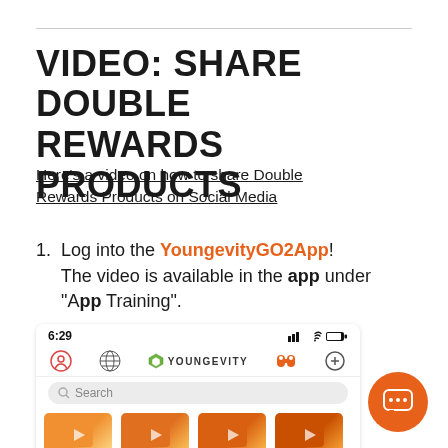VIDEO: SHARE DOUBLE REWARDS PRODUCTS
Here's a video on how to share Double Rewards Products on Social Media
Log into the YoungevityGO2App! The video is available in the app under "App Training".
[Figure (screenshot): Screenshot of the Youngevity GO2 App showing status bar with time 6:29, navigation bar with Youngevity logo, a search bar, and video thumbnails for How to incorporate HempFx in..., ProCardio Fx w/ Sandeev Javia, Tom & Denice Chenault - Con..., Dr. from...]